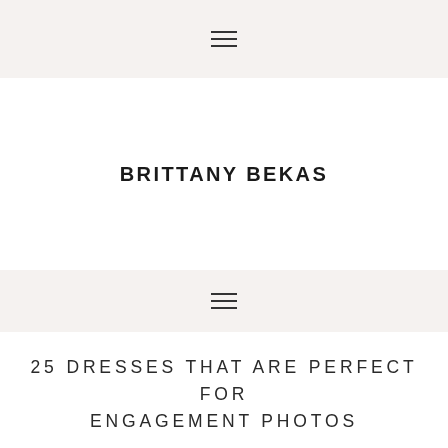≡
BRITTANY BEKAS
≡
25 DRESSES THAT ARE PERFECT FOR ENGAGEMENT PHOTOS
When I was trying to figure out what to wear for